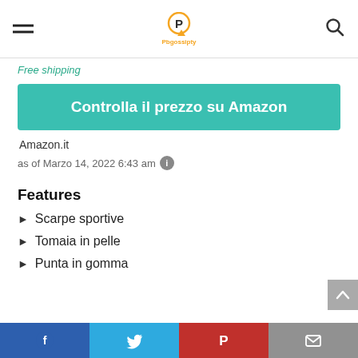Pbgossipty logo navigation
Free shipping
Controlla il prezzo su Amazon
Amazon.it
as of Marzo 14, 2022 6:43 am
Features
Scarpe sportive
Tomaia in pelle
Punta in gomma
Share bar: Facebook, Twitter, Pinterest, Email